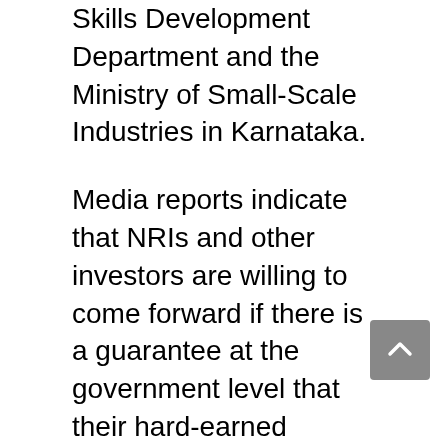Skills Development Department and the Ministry of Small-Scale Industries in Karnataka.
Media reports indicate that NRIs and other investors are willing to come forward if there is a guarantee at the government level that their hard-earned money will not be misused. Accordingly, these government entities could take the initiative along with an educational institution for setting up a STEAM group drawn from the faculties of Science, Technology, Engineering, Arts and Mathematics/Management as well as angel investors and entrepreneurs for translating ideas into products and services.
To this end a seminar with the participation